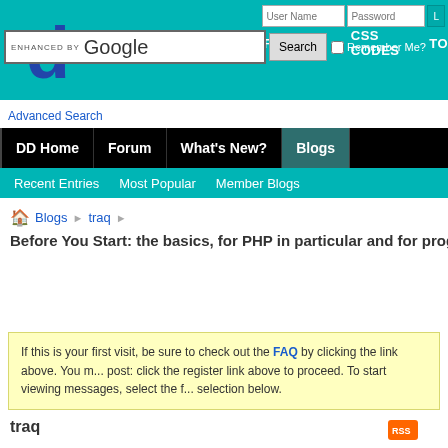NEW | REVISED | FORUMS | CSS CODES | TO...
[Figure (logo): Dynamic Drive logo - blue 'd' letter on teal background]
ENHANCED BY Google
Search | Remember Me?
User Name | Password | Login button
Advanced Search
DD Home | Forum | What's New? | Blogs
Recent Entries   Most Popular   Member Blogs
Blogs > traq >
Before You Start: the basics, for PHP in particular and for programmi...
If this is your first visit, be sure to check out the FAQ by clicking the link above. You m... post: click the register link above to proceed. To start viewing messages, select the f... selection below.
traq